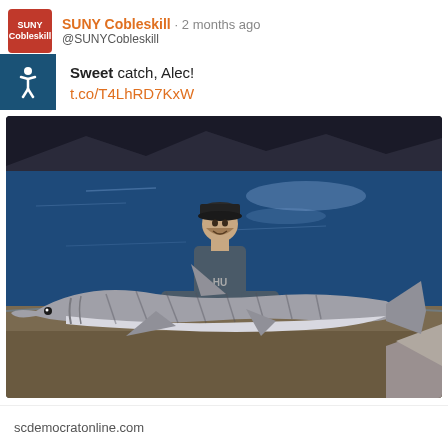SUNY Cobleskill · 2 months ago @SUNYCobleskill
Sweet catch, Alec!
t.co/T4LhRD7KxW
[Figure (photo): A man standing chest-deep in a lake or river at night, holding a large shark (cobia or similar fish) horizontally in front of him. The man is wearing a camo hoodie and a dark cap. The background shows dark water with light reflections and a dark treeline on the horizon.]
scdemocratonline.com